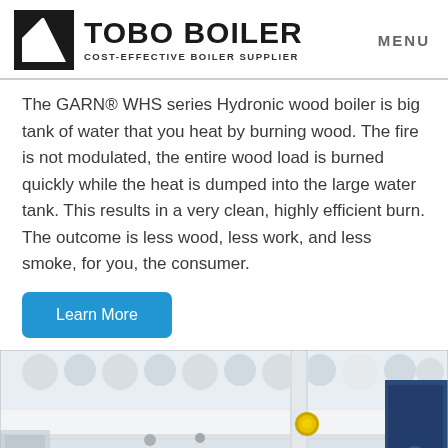TOBO BOILER — COST-EFFECTIVE BOILER SUPPLIER | MENU
The GARN® WHS series Hydronic wood boiler is big tank of water that you heat by burning wood. The fire is not modulated, the entire wood load is burned quickly while the heat is dumped into the large water tank. This results in a very clean, highly efficient burn. The outcome is less wood, less work, and less smoke, for you, the consumer.
Learn More
[Figure (photo): Industrial boiler room with white pipes, yellow gas lines, blue valve components, and various mechanical fittings on a factory floor.]